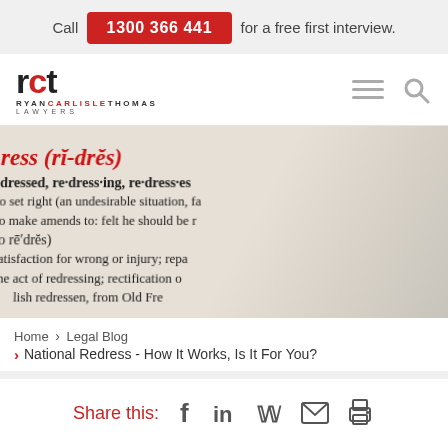Call 1300 366 441 for a free first interview.
[Figure (logo): RCT Ryan Carlisle Thomas Lawyers logo with hamburger menu and search icon]
[Figure (photo): Close-up photo of a dictionary page showing the word 'redress' with phonetic spelling (ri-dres) and definition text about setting right an undesirable situation, making amends, satisfaction for wrong or injury, rectification, from Old French redressen]
Home > Legal Blog > National Redress - How It Works, Is It For You?
Share this:
Published: 12 December 2018